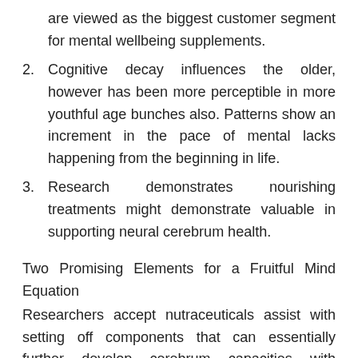are viewed as the biggest customer segment for mental wellbeing supplements.
2. Cognitive decay influences the older, however has been more perceptible in more youthful age bunches also. Patterns show an increment in the pace of mental lacks happening from the beginning in life.
3. Research demonstrates nourishing treatments might demonstrate valuable in supporting neural cerebrum health.
Two Promising Elements for a Fruitful Mind Equation
Researchers accept nutraceuticals assist with setting off components that can essentially further develop cerebrum capacities with NeoCube results. These systems support calming